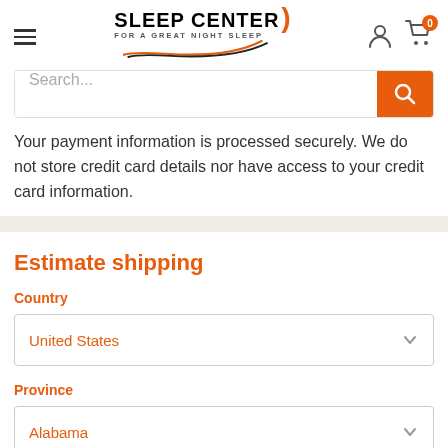[Figure (logo): Sleep Center logo with orange swoosh, tagline 'FOR A GREAT NIGHT SLEEP']
[Figure (infographic): Search bar with orange search button, hamburger menu icon, user and cart icons in header]
Your payment information is processed securely. We do not store credit card details nor have access to your credit card information.
Estimate shipping
Country
United States
Province
Alabama